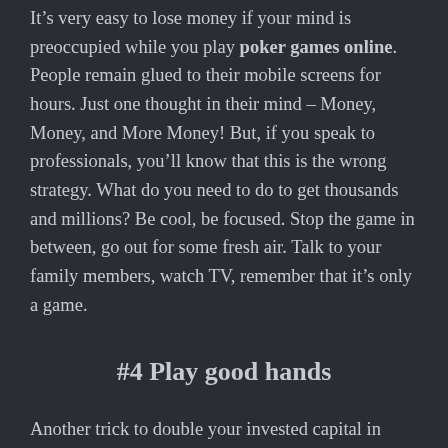It's very easy to lose money if your mind is preoccupied while you play poker games online. People remain glued to their mobile screens for hours. Just one thought in their mind – Money, Money, and More Money! But, if you speak to professionals, you'll know that this is the wrong strategy. What do you need to do to get thousands and millions? Be cool, be focused. Stop the game in between, go out for some fresh air. Talk to your family members, watch TV, remember that it's only a game.
#4 Play good hands
Another trick to double your invested capital in online poker is to play a good poker hand. If at the beginning you feel that the hand dealt with you is a tough one. Then